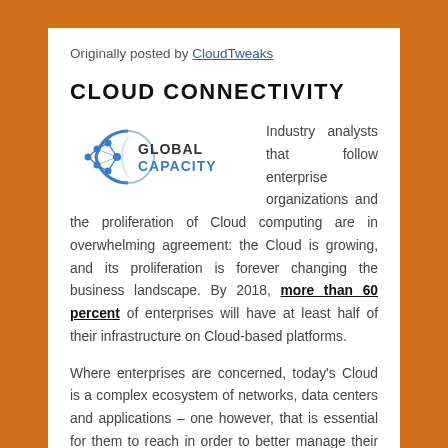Originally posted by CloudTweaks
CLOUD CONNECTIVITY
[Figure (logo): Global Capacity logo — a circular arc with network nodes on the left, and the text GLOBAL CAPACITY where GLOBAL is dark gray and CAPACITY is blue]
Industry analysts that follow enterprise organizations and the proliferation of Cloud computing are in overwhelming agreement: the Cloud is growing, and its proliferation is forever changing the business landscape. By 2018, more than 60 percent of enterprises will have at least half of their infrastructure on Cloud-based platforms.
Where enterprises are concerned, today's Cloud is a complex ecosystem of networks, data centers and applications – one however, that is essential for them to reach in order to better manage their workloads and